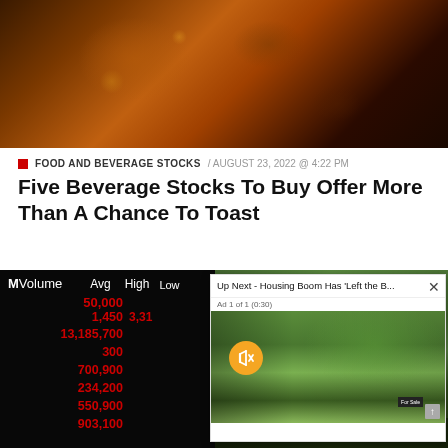[Figure (photo): Close-up photo of a dark cola beverage with ice in a glass, amber and brown tones with bokeh background]
FOOD AND BEVERAGE STOCKS / AUGUST 23, 2022 @ 4:22 PM
Five Beverage Stocks To Buy Offer More Than A Chance To Toast
[Figure (screenshot): Stock market board showing red trading volume numbers (50,000 / 1,450 / 13,185,700 / 300 / 700,900 / 234,200 / 550,900 / 903,100) with column headers MVolume, Avg, High, Low, overlaid with a video player popup showing 'Up Next - Housing Boom Has Left the B...' with a real estate street scene thumbnail and Ad 1 of 1 (0:30) label]